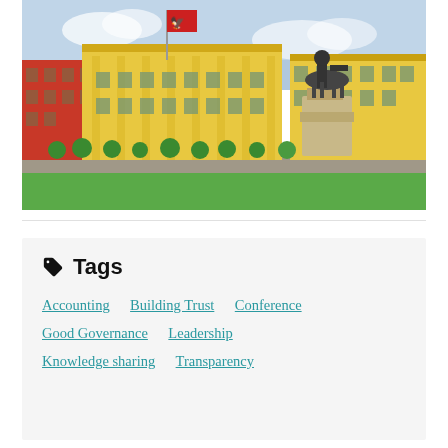[Figure (photo): Photo of Skanderbeg Square in Tirana, Albania, showing yellow neoclassical government buildings with red accents, a red Albanian flag on a flagpole, a bronze equestrian statue on a stone pedestal, green lawn in the foreground, and trees along a road.]
Tags
Accounting
Building Trust
Conference
Good Governance
Leadership
Knowledge sharing
Transparency